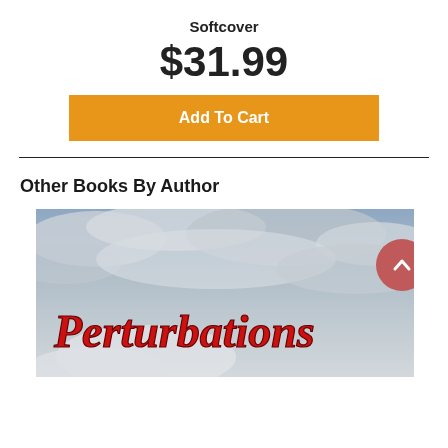Softcover
$31.99
Add To Cart
Other Books By Author
[Figure (photo): Book cover image for 'Perturbations' — cloudy sky background with red italic title text reading 'Perturbations'. A circular back-to-top button with an upward chevron is overlaid at the top right.]